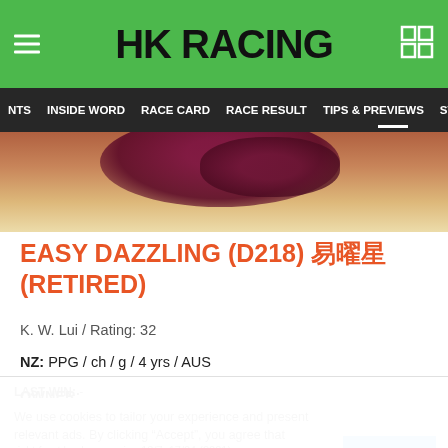HK RACING
NTS  INSIDE WORD  RACE CARD  RACE RESULT  TIPS & PREVIEWS  STATS
[Figure (photo): Partial photo of flowers/horse image behind the header]
EASY DAZZLING (D218) 易曜星 (RETIRED)
K. W. Lui / Rating: 32
NZ: PPG / ch / g / 4 yrs / AUS
OWNER:
David Group Syndicate
LAST WIN: -
HEALTH: Colic 13/7, 10/02/01 Unacceptable performance. Lame right front leg lame racine 13/7, 17/04 (2021).
BLOODLINE RELATIONS:
We use cookies to tailor your experience and present relevant ads. By clicking "Accept", you agree that cookies can be placed per our Privacy Policy.